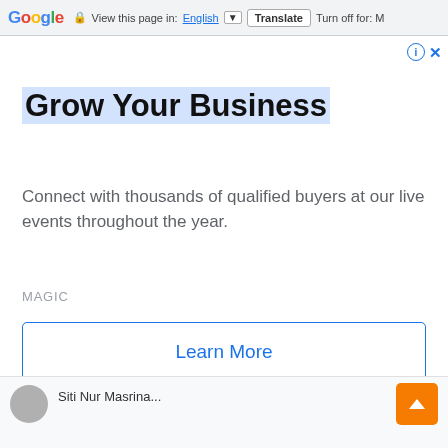Google  View this page in: English  Translate  Turn off for: M
[Figure (screenshot): Ad close/info icons in top right of ad unit]
Grow Your Business
Connect with thousands of qualified buyers at our live events throughout the year.
MAGIC
Learn More
[Figure (other): Bottom section with avatar circle and scroll-to-top orange button]